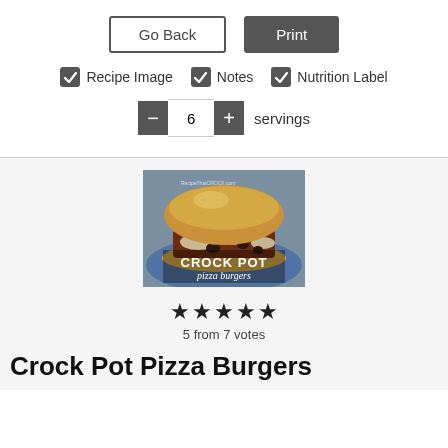[Figure (screenshot): UI with Go Back and Print buttons, checkboxes for Recipe Image, Notes, Nutrition Label, and a servings counter showing 6]
[Figure (photo): Photo of a Crock Pot pizza burger sandwich on a blue plate with text overlay reading CROCK POT pizza burgers]
5 from 7 votes
Crock Pot Pizza Burgers